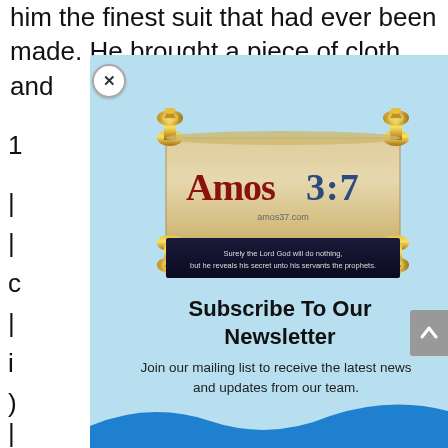him the finest suit that had ever been made. He brought a piece of cloth and
[Figure (logo): Amos 3:7 website logo — a decorative scroll with golden rod ends displaying 'Amos3:7' text in red and blue, with amos37.com URL, and a dark banner below reading 'Surely the Lord God will do nothing, but he reveals his secret unto his servants the prophets.']
Subscribe To Our Newsletter
Join our mailing list to receive the latest news and updates from our team.